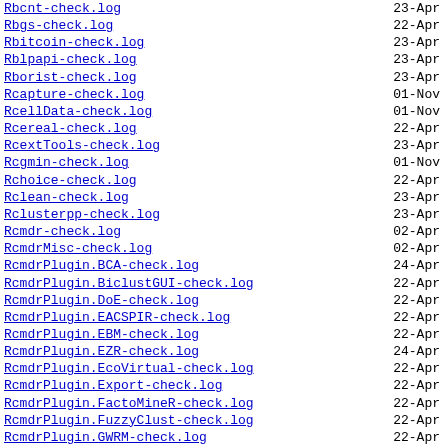Rbcnt-check.log  23-Apr
Rbgs-check.log  22-Apr
Rbitcoin-check.log  23-Apr
Rblpapi-check.log  23-Apr
Rborist-check.log  23-Apr
Rcapture-check.log  01-Nov
RcellData-check.log  01-Nov
Rcereal-check.log  22-Apr
RcextTools-check.log  23-Apr
Rcgmin-check.log  01-Nov
Rchoice-check.log  22-Apr
Rclean-check.log  23-Apr
Rclusterpp-check.log  23-Apr
Rcmdr-check.log  02-Apr
RcmdrMisc-check.log  02-Apr
RcmdrPlugin.BCA-check.log  24-Apr
RcmdrPlugin.BiclustGUI-check.log  22-Apr
RcmdrPlugin.DoE-check.log  22-Apr
RcmdrPlugin.EACSPIR-check.log  22-Apr
RcmdrPlugin.EBM-check.log  22-Apr
RcmdrPlugin.EZR-check.log  24-Apr
RcmdrPlugin.EcoVirtual-check.log  22-Apr
RcmdrPlugin.Export-check.log  22-Apr
RcmdrPlugin.FactoMineR-check.log  22-Apr
RcmdrPlugin.FuzzyClust-check.log  22-Apr
RcmdrPlugin.GWRM-check.log  22-Apr
RcmdrPlugin.HH-check.log  24-Apr
RcmdrPlugin.IPSUR-check.log  22-Apr
RcmdrPlugin.KMggplot2-check.log  22-Apr
RcmdrPlugin.MA-check.log  22-Apr
RcmdrPlugin.MDAStats-check.log  22-Apr